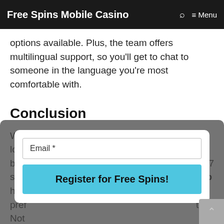Free Spins Mobile Casino  🔍  ≡ Menu
options available. Plus, the team offers multilingual support, so you'll get to chat to someone in the language you're most comfortable with.
Conclusion
With nearly a decade's industry experience, a loyal player following, first-rate rewards, play-boos... 4/7 supp... b has ... pref... tion.
[Figure (screenshot): Modal popup with an Email input field and a cyan 'Register for Free Spins!' button]
Not ...